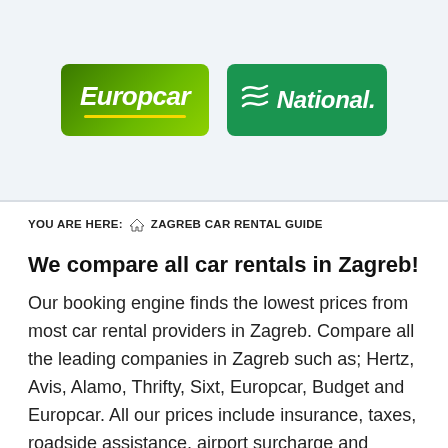[Figure (logo): Europcar and National car rental company logos side by side on a light blue-grey banner background]
YOU ARE HERE: ⌂ ZAGREB CAR RENTAL GUIDE
We compare all car rentals in Zagreb!
Our booking engine finds the lowest prices from most car rental providers in Zagreb. Compare all the leading companies in Zagreb such as; Hertz, Avis, Alamo, Thrifty, Sixt, Europcar, Budget and Europcar. All our prices include insurance, taxes, roadside assistance, airport surcharge and